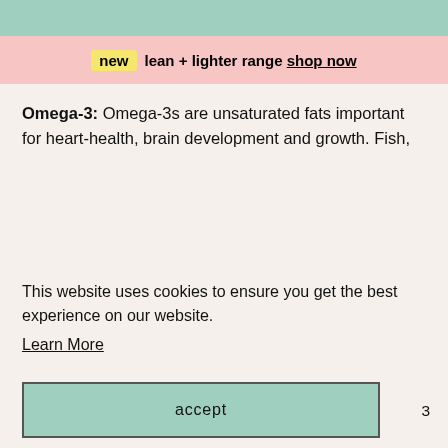new  lean + lighter range  shop now
for 3 micrograms (mcg) per day from these foods/drinks. Supplements may also be an option – speak to your dietitian and/or GP for further advice.
Omega-3: Omega-3s are unsaturated fats important for heart-health, brain development and growth. Fish, ... if you ... ole ... ds ... or
This website uses cookies to ensure you get the best experience on our website.
Learn More
accept
pregnant/breastfeeding, due to the role of omega-3